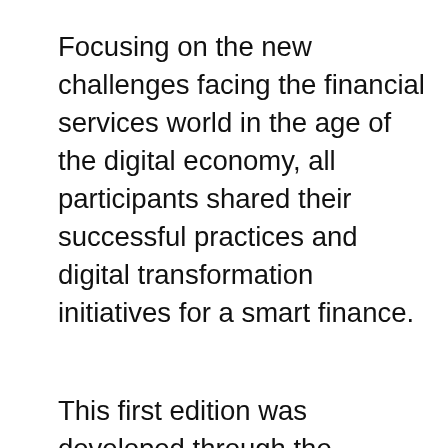Focusing on the new challenges facing the financial services world in the age of the digital economy, all participants shared their successful practices and digital transformation initiatives for a smart finance.
This first edition was developed through the intervention of several Huawei experts,
We use cookies on our website to give you the most relevant experience by remembering your preferences and repeat visits. By clicking “Accept All”, you consent to the use of ALL the cookies. However, you may visit "Cookie Settings" to provide a controlled consent.